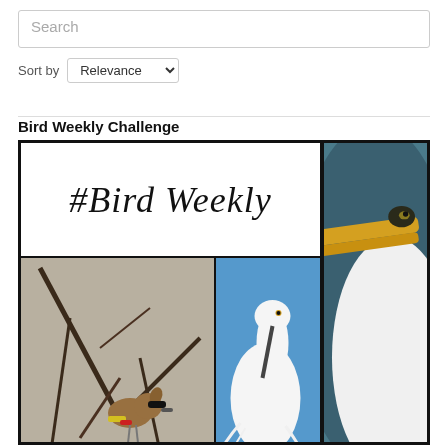Search
Sort by Relevance
Bird Weekly Challenge
[Figure (photo): Collage of bird photos labeled '#Bird Weekly'. Top-left: handwritten-style '#Bird Weekly' text on white. Top-right: close-up of egret beak/eye. Middle-left: cedar waxwing on branch. Middle-center: white snowy egret standing on ledge against blue sky. Bottom-right: red cardinal on metal garden stake.]